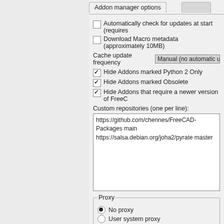Addon manager options
Automatically check for updates at start (requires
Download Macro metadata (approximately 10MB)
Cache update frequency   Manual (no automatic upda
Hide Addons marked Python 2 Only
Hide Addons marked Obsolete
Hide Addons that require a newer version of FreeC
Custom repositories (one per line):
https://github.com/chennes/FreeCAD-Packages main
https://salsa.debian.org/joha2/pyrate master
Proxy
No proxy
User system proxy